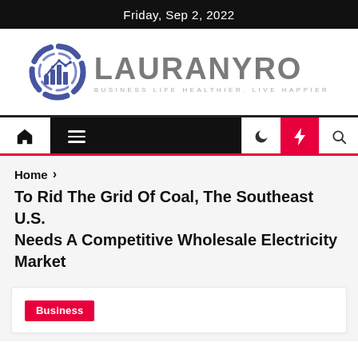Friday, Sep 2, 2022
[Figure (logo): Lauranyro logo with circular chart icon and tagline 'Business Life Healthier. Live Happier']
[Figure (screenshot): Navigation bar with home icon, hamburger menu, dark search area, moon icon, lightning bolt (red background), and search icon]
Home > To Rid The Grid Of Coal, The Southeast U.S. Needs A Competitive Wholesale Electricity Market
To Rid The Grid Of Coal, The Southeast U.S. Needs A Competitive Wholesale Electricity Market
Business